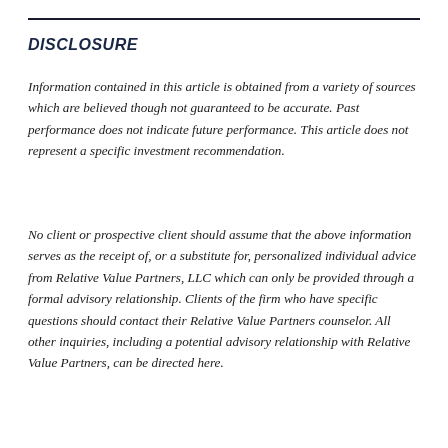DISCLOSURE
Information contained in this article is obtained from a variety of sources which are believed though not guaranteed to be accurate. Past performance does not indicate future performance. This article does not represent a specific investment recommendation.
No client or prospective client should assume that the above information serves as the receipt of, or a substitute for, personalized individual advice from Relative Value Partners, LLC which can only be provided through a formal advisory relationship. Clients of the firm who have specific questions should contact their Relative Value Partners counselor. All other inquiries, including a potential advisory relationship with Relative Value Partners, can be directed here.